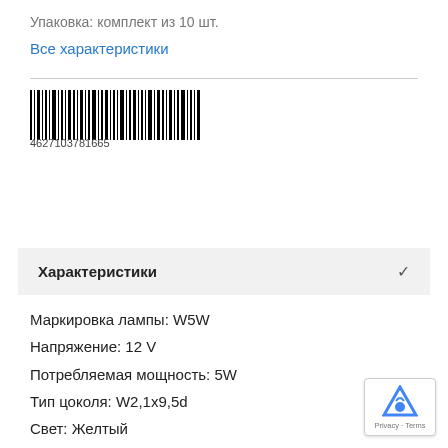Упаковка: комплект из 10 шт.
Все характеристики
[Figure (other): Barcode image with number 4627103781665]
4627103781665
Характеристики
Маркировка лампы: W5W
Напряжение: 12 V
Потребляемая мощность: 5W
Тип цоколя: W2,1x9,5d
Свет: Желтый
Упаковка: комплект из 10 шт.
Температура колбы в рабочем состоянии превы... 200°С.